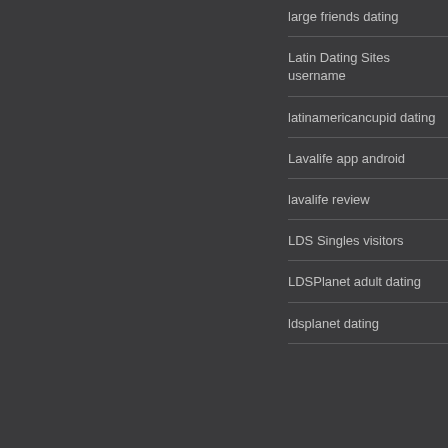large friends dating
Latin Dating Sites username
latinamericancupid dating
Lavalife app android
lavalife review
LDS Singles visitors
LDSPlanet adult dating
ldsplanet dating